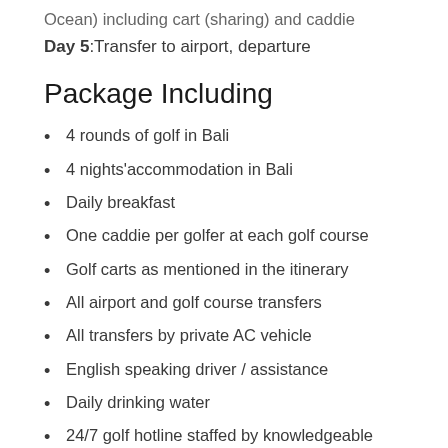Ocean) including cart (sharing) and caddie
Day 5:Transfer to airport, departure
Package Including
4 rounds of golf in Bali
4 nights'accommodation in Bali
Daily breakfast
One caddie per golfer at each golf course
Golf carts as mentioned in the itinerary
All airport and golf course transfers
All transfers by private AC vehicle
English speaking driver / assistance
Daily drinking water
24/7 golf hotline staffed by knowledgeable service personnel
Local knowledge, expertise,